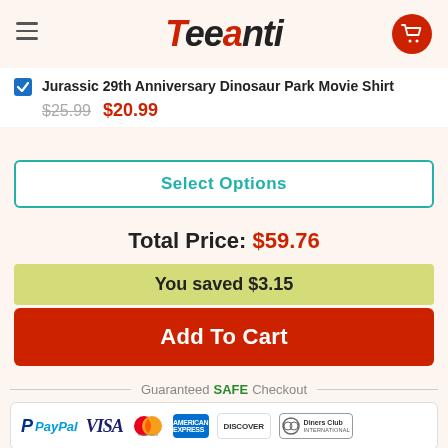Teeanti
Jurassic 29th Anniversary Dinosaur Park Movie Shirt $25.99 $20.99
Select Options
Total Price: $59.76
You saved $3.15
Add To Cart
Guaranteed SAFE Checkout
[Figure (other): Payment logos: PayPal, VISA, Mastercard, American Express, Discover, Diners Club International]